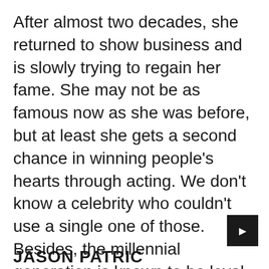After almost two decades, she returned to show business and is slowly trying to regain her fame. She may not be as famous now as she was before, but at least she gets a second chance in winning people's hearts through acting. We don't know a celebrity who couldn't use a single one of those. Besides, the millennial generation is known to be loyal to the ones they like, whatever it is or whoever that might be. Who knows, she may be one of the lucky ones to earn this kind of reputation today, credits to her undying beauty and passion for acting.
JASON PATRIC